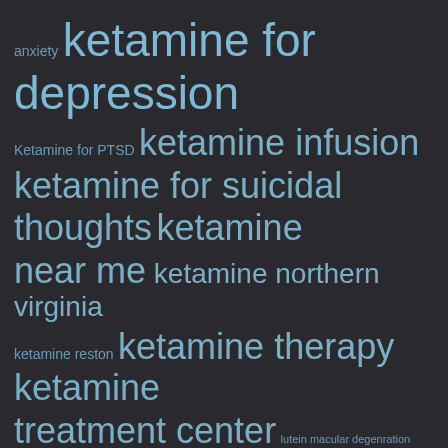[Figure (other): Word cloud on dark background showing medical/health search terms related to ketamine treatments, vitamins, and supplements. Terms vary in size indicating relative frequency/importance. Dark charcoal background with steel-blue colored text. Key terms include: anxiety, ketamine for depression, Ketamine for PTSD, ketamine infusion, ketamine for suicidal thoughts, ketamine near me, ketamine northern virginia, ketamine reston, ketamine therapy, ketamine treatment center, lutein macular degenration, Melatonin, Mucuna Pruriens, NAd, NAD IV treatment, nasal spray ketamine, NOVA Health recovery, Nutritional deficiency, oral ketamine, schizophrenia, theanine, tryptophan, tyrosine, Vitamin D, Vitamin Lost, vitamins, vitamin therapy]